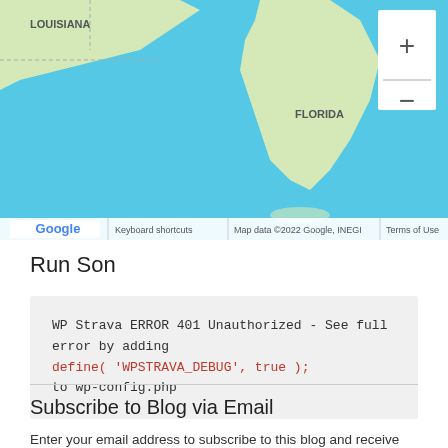[Figure (map): Google Maps screenshot showing southeastern United States including Louisiana and Florida, with zoom controls (+/-) in top right corner. Map data ©2022 Google, INEGI shown at bottom.]
Run Son
WP Strava ERROR 401 Unauthorized - See full error by adding
define( 'WPSTRAVA_DEBUG', true );
to wp-config.php
Subscribe to Blog via Email
Enter your email address to subscribe to this blog and receive